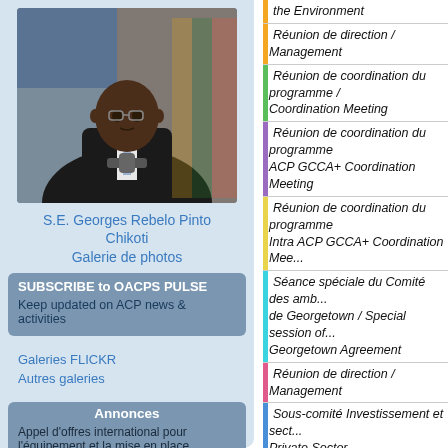[Figure (photo): Photo of S.E. Georges Rebelo Pinto Chikoti, a man in a suit speaking at a podium]
S.E. Georges Rebelo Pinto Chikoti
Galerie de photos
SUBSCRIBE to OACPS PULSE
Keep updated on ACP news & activities
Galeries FLICKR
Autres galeries
Annonces
Appel d'offres international pour l'équipement et la mise en place
the Environment
Réunion de direction / Management
Réunion de coordination du programme / Coordination Meeting
Réunion de coordination du programme ACP GCCA+ Coordination Meeting
Réunion de coordination du programme Intra ACP GCCA+ Coordination Meeting
Séance spéciale du Comité des ambassadeurs de Georgetown / Special session of the Georgetown Agreement
Réunion de direction / Management
Sous-comité Investissement et secteur / Private.Sector
Comité de coopération ACP-UE pour le développement (mandataires) / ACP (Authorised members)
Région Afrique de l'Ouest / West Africa
Groupe central de négociation / Central Negotiating Group